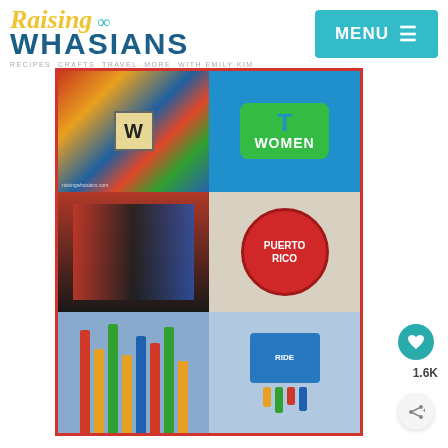Raising Whasians — RECIPES CRAFTS TRAVEL MORE WITH EMILY KIM — MENU
[Figure (photo): Blog header collage with colorful image grid featuring a W Walmart sign, a Women sign on teal background, colorful shipping containers, a Puerto Rican can label, colorful fence posts, and a carousel scene]
1.6K